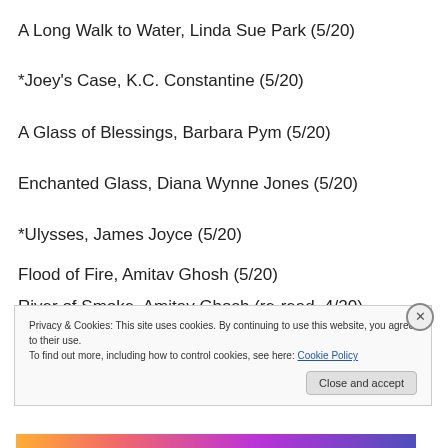A Long Walk to Water, Linda Sue Park (5/20)
*Joey's Case, K.C. Constantine (5/20)
A Glass of Blessings, Barbara Pym (5/20)
Enchanted Glass, Diana Wynne Jones (5/20)
*Ulysses, James Joyce (5/20)
Flood of Fire, Amitav Ghosh (5/20)
River of Smoke, Amitav Ghosh (re-read, 4/20)
Privacy & Cookies: This site uses cookies. By continuing to use this website, you agree to their use. To find out more, including how to control cookies, see here: Cookie Policy
Close and accept